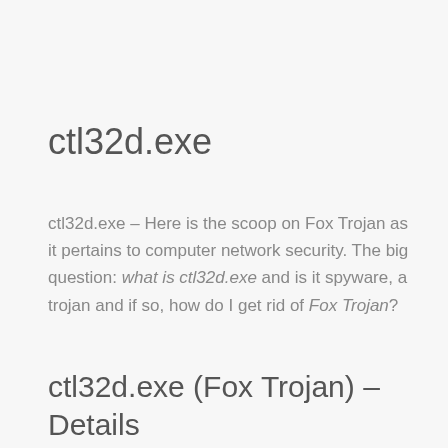ctl32d.exe
ctl32d.exe – Here is the scoop on Fox Trojan as it pertains to computer network security. The big question: what is ctl32d.exe and is it spyware, a trojan and if so, how do I get rid of Fox Trojan?
ctl32d.exe (Fox Trojan) – Details